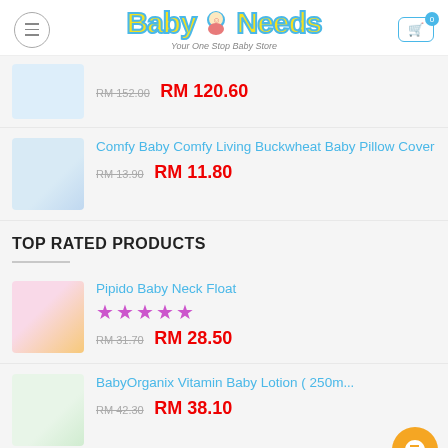Baby Needs — Your One Stop Baby Store
RM 152.00  RM 120.60
Comfy Baby Comfy Living Buckwheat Baby Pillow Cover
RM 13.90  RM 11.80
TOP RATED PRODUCTS
Pipido Baby Neck Float
★★★★★
RM 31.70  RM 28.50
BabyOrganix Vitamin Baby Lotion ( 250m...
RM 42.30  RM 38.10